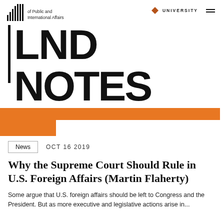of Public and International Affairs | UNIVERSITY
LND NOTES
[Figure (other): Orange decorative L-shaped block graphic below the LND NOTES title]
News   OCT 16 2019
Why the Supreme Court Should Rule in U.S. Foreign Affairs (Martin Flaherty)
Some argue that U.S. foreign affairs should be left to Congress and the President. But as more executive and legislative actions arise in...